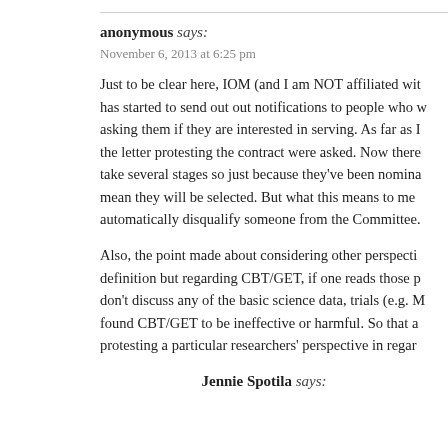anonymous says:
November 6, 2013 at 6:25 pm
Just to be clear here, IOM (and I am NOT affiliated with) has started to send out out notifications to people who were asking them if they are interested in serving. As far as I know, the letter protesting the contract were asked. Now there take several stages so just because they've been nominated doesn't mean they will be selected. But what this means to me is signing a letter doesn't automatically disqualify someone from the Committee.
Also, the point made about considering other perspectives by definition but regarding CBT/GET, if one reads those papers they don't discuss any of the basic science data, trials (e.g. N.) found CBT/GET to be ineffective or harmful. So that argument is protesting a particular researchers' perspective in regard
Jennie Spotila says: